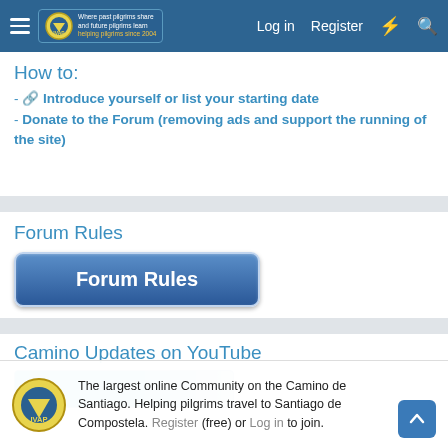Log in  Register
How to:
- 🔗 Introduce yourself or list your starting date
- Donate to the Forum (removing ads and support the running of the site)
Forum Rules
[Figure (other): Forum Rules button - blue rectangular button with white bold text reading 'Forum Rules']
Camino Updates on YouTube
[Figure (photo): Thumbnail image for Camino YouTube video, partially visible]
The largest online Community on the Camino de Santiago. Helping pilgrims travel to Santiago de Compostela. Register (free) or Log in to join.